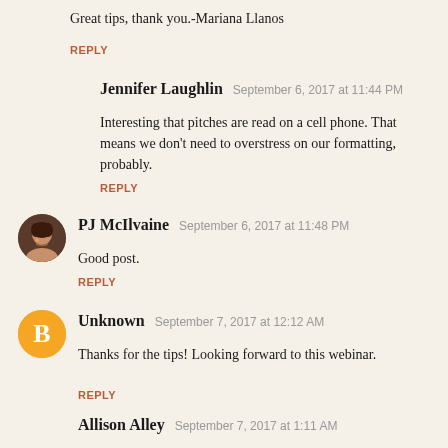Great tips, thank you.-Mariana Llanos
REPLY
Jennifer Laughlin  September 6, 2017 at 11:44 PM
Interesting that pitches are read on a cell phone. That means we don't need to overstress on our formatting, probably.
REPLY
PJ McIlvaine  September 6, 2017 at 11:48 PM
Good post.
REPLY
Unknown  September 7, 2017 at 12:12 AM
Thanks for the tips! Looking forward to this webinar.
REPLY
Allison Alley  September 7, 2017 at 1:11 AM